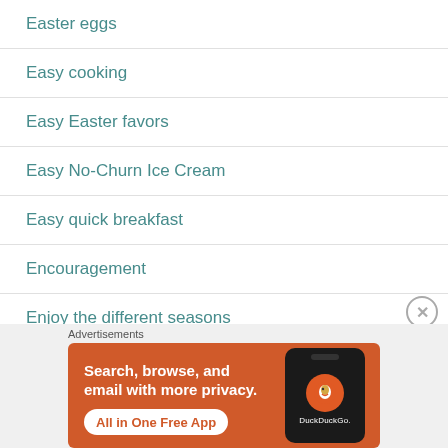Easter eggs
Easy cooking
Easy Easter favors
Easy No-Churn Ice Cream
Easy quick breakfast
Encouragement
Enjoy the different seasons
[Figure (screenshot): DuckDuckGo advertisement banner with orange background showing 'Search, browse, and email with more privacy. All in One Free App' text and phone mockup with DuckDuckGo logo]